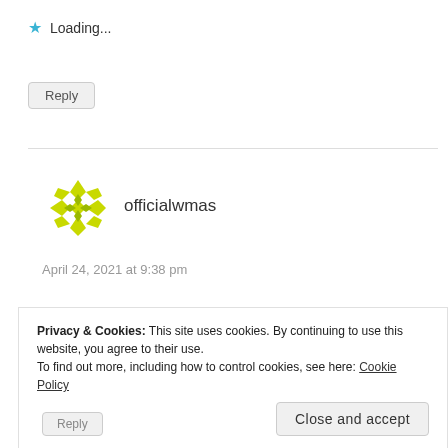★ Loading...
Reply
[Figure (logo): officialwmas avatar: a circular geometric pattern made of yellow-green diamond shapes arranged in a mandala-like pattern]
officialwmas
April 24, 2021 at 9:38 pm
Thank you Neville
Privacy & Cookies: This site uses cookies. By continuing to use this website, you agree to their use.
To find out more, including how to control cookies, see here: Cookie Policy
Close and accept
Reply